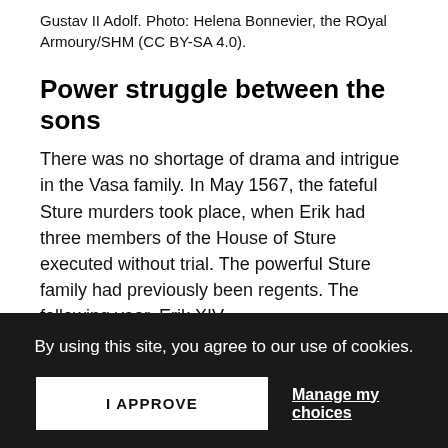Gustav II Adolf. Photo: Helena Bonnevier, the ROyal Armoury/SHM (CC BY-SA 4.0).
Power struggle between the sons
There was no shortage of drama and intrigue in the Vasa family. In May 1567, the fateful Sture murders took place, when Erik had three members of the House of Sture executed without trial. The powerful Sture family had previously been regents. The following year, Erik XIV
By using this site, you agree to our use of cookies.
I APPROVE
Manage my choices